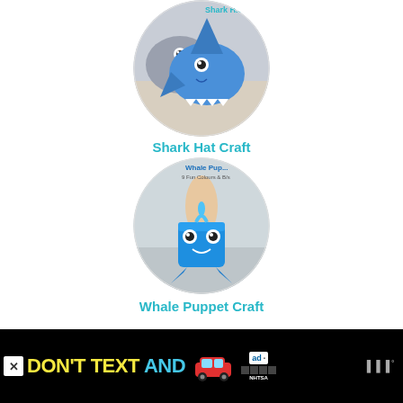[Figure (photo): Circular photo of a shark hat craft made from paper, showing blue shark shape with teeth and googly eyes]
Shark Hat Craft
[Figure (photo): Circular photo of a whale puppet craft, showing a blue paper cup whale puppet with googly eyes and paper tail fin being held by a hand]
Whale Puppet Craft
[Figure (infographic): Advertisement banner: black background with yellow text 'DON'T TEXT' and cyan text 'AND', red car emoji, ad badge and NHTSA logo, with close button]